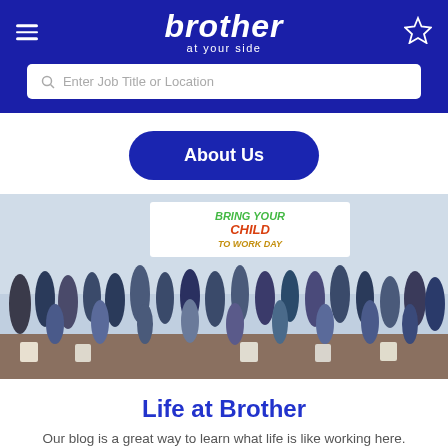brother at your side
Enter Job Title or Location
About Us
[Figure (photo): Group photo of employees and children at a 'Bring Your Child to Work Day' event, posing together in a large indoor space with a colorful banner in the background.]
Life at Brother
Our blog is a great way to learn what life is like working here.